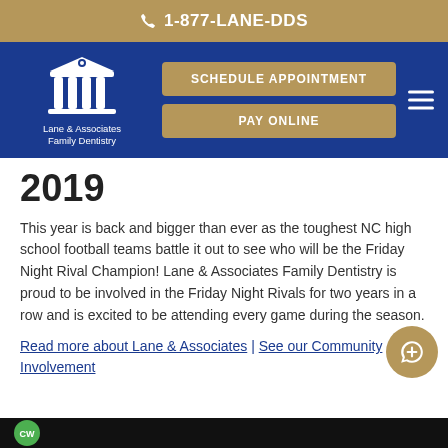1-877-LANE-DDS
[Figure (logo): Lane & Associates Family Dentistry logo with white dental/building icon on blue background, gold Schedule Appointment and Pay Online buttons, hamburger menu icon]
2019
This year is back and bigger than ever as the toughest NC high school football teams battle it out to see who will be the Friday Night Rival Champion! Lane & Associates Family Dentistry is proud to be involved in the Friday Night Rivals for two years in a row and is excited to be attending every game during the season.
Read more about Lane & Associates | See our Community Involvement